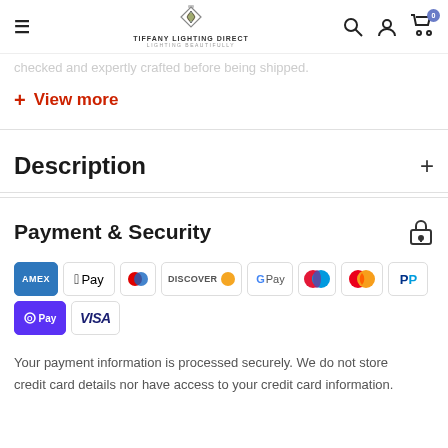Tiffany Lighting Direct — Lighting Beautifully
checked and expertly crafted before being shipped.
+ View more
Description
Payment & Security
[Figure (other): Payment method logos: American Express, Apple Pay, Diners Club, Discover, Google Pay, Maestro, Mastercard, PayPal, Shop Pay, Visa]
Your payment information is processed securely. We do not store credit card details nor have access to your credit card information.